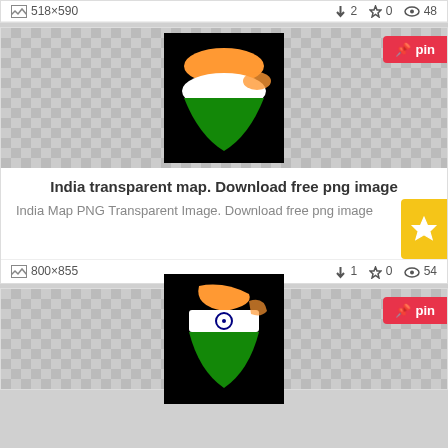518×590   ⬇2  ☆0  👁48
[Figure (photo): India map with Indian flag colors (saffron, white, green) on black background]
India transparent map. Download free png image
India Map PNG Transparent Image. Download free png image
800×855   ⬇1  ☆0  👁54
[Figure (photo): India map with Indian flag including Ashoka Chakra on black background]